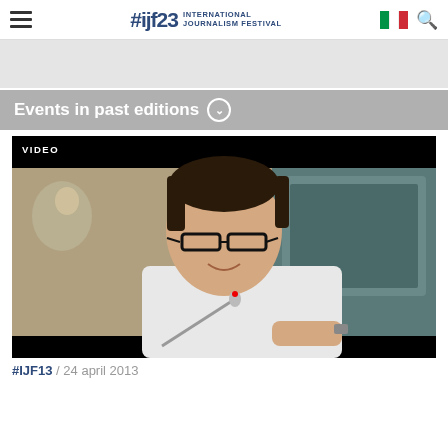#ijf23 INTERNATIONAL JOURNALISM FESTIVAL
[Figure (photo): Gray banner placeholder image at top of page]
Events in past editions
[Figure (photo): Video thumbnail showing a man with glasses speaking at a podium/panel, with a microphone in front of him. Label 'VIDEO' appears in top-left corner of the thumbnail.]
#IJF13 / 24 april 2013